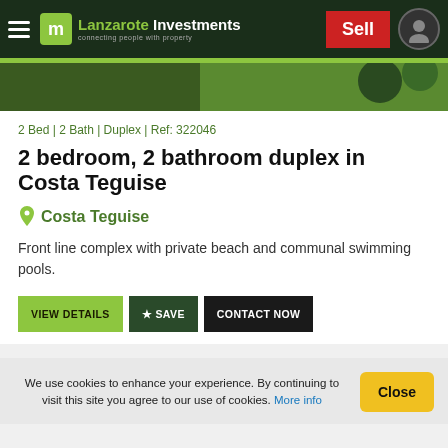Lanzarote Investments — connecting people with property | Sell
2 Bed | 2 Bath | Duplex | Ref: 322046
2 bedroom, 2 bathroom duplex in Costa Teguise
Costa Teguise
Front line complex with private beach and communal swimming pools.
VIEW DETAILS | ★ SAVE | CONTACT NOW
We use cookies to enhance your experience. By continuing to visit this site you agree to our use of cookies. More info | Close